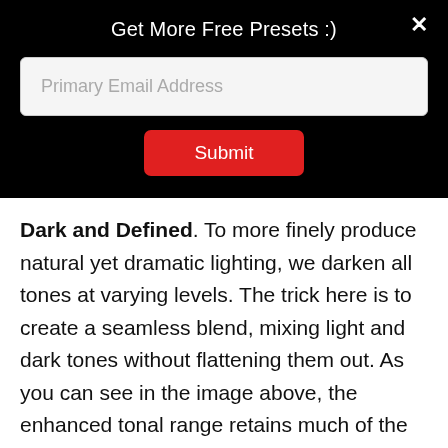Get More Free Presets :)
[Figure (screenshot): Email input field with placeholder text 'Primary Email Address']
[Figure (screenshot): Red Submit button]
Dark and Defined. To more finely produce natural yet dramatic lighting, we darken all tones at varying levels. The trick here is to create a seamless blend, mixing light and dark tones without flattening them out. As you can see in the image above, the enhanced tonal range retains much of the photo's definition.
Tip: Adjust the highlights depending on your photo's needs. This may be necessary if your image had harsh light regions.